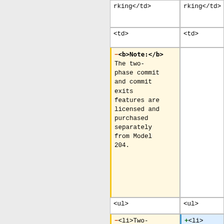| rking</td> | rking</td> |
| <td> | <td> |
| <b>Note:</b> The two-phase commit and commit exits features are licensed and purchased separately from Model 204. |  |
| <ul> | <ul> |
| <li>Two-phase commit. A Model 204 online can not be... | <li>
[[Janus_Two-Phase_Commit|Two-phase commit]]. A Model 204... |